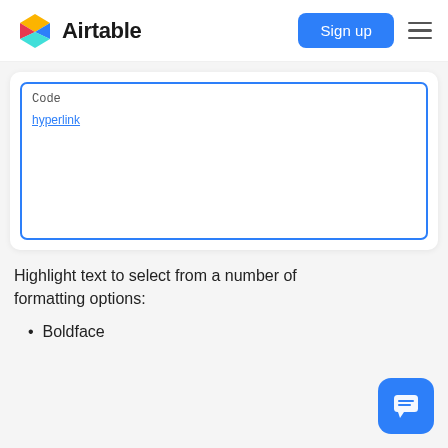Airtable — Sign up
[Figure (screenshot): Airtable rich text editor with blue border, showing 'Code' label and a 'hyperlink' link in the editor area]
Highlight text to select from a number of formatting options:
Boldface